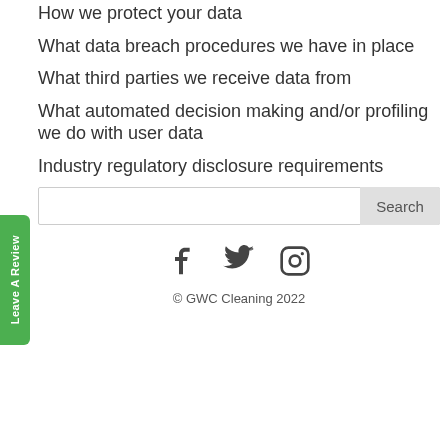How we protect your data
What data breach procedures we have in place
What third parties we receive data from
What automated decision making and/or profiling we do with user data
Industry regulatory disclosure requirements
Search
[Figure (infographic): Social media icons: Facebook, Twitter, Instagram]
© GWC Cleaning 2022